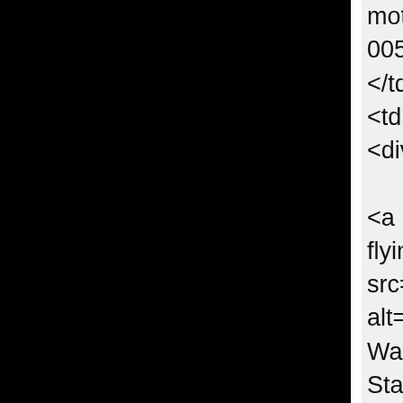motors-t-m-00564:Bre </td> <td style=" <div style=  <a href="h flying-b-ma src="http:/ alt="Replic Watches [1 Stainless S <a href="h flying-b-ma 00623:Bre </td> <td style=" <div style=  <a href="h tourbillon-a src="http:/ alt="Replic